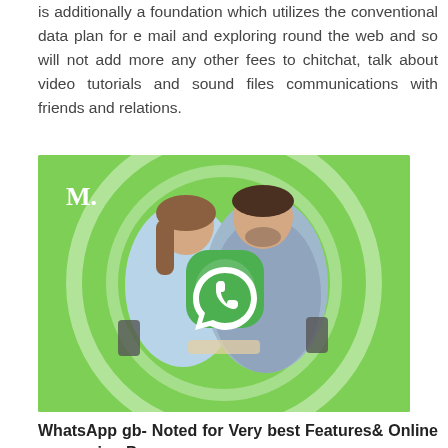is additionally a foundation which utilizes the conventional data plan for e mail and exploring round the web and so will not add more any other fees to chitchat, talk about video tutorials and sound files communications with friends and relations.
[Figure (photo): Two people standing back to back using smartphones, with a large WhatsApp logo (green icon with white phone handset) in the center, on a bright green background with white concentric circle decorations and an 'M.' logo in the top left corner.]
WhatsApp gb- Noted for Very best Features& Online messaging Programs